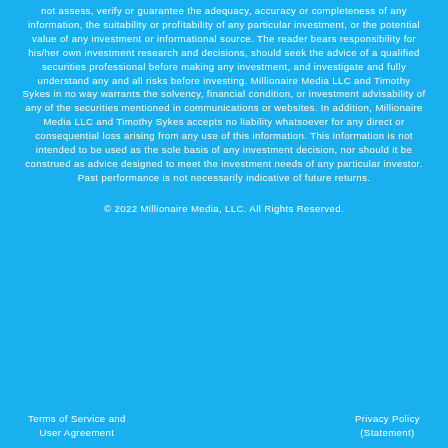not assess, verify or guarantee the adequacy, accuracy or completeness of any information, the suitability or profitability of any particular investment, or the potential value of any investment or informational source. The reader bears responsibility for his/her own investment research and decisions, should seek the advice of a qualified securities professional before making any investment, and investigate and fully understand any and all risks before investing. Millionaire Media LLC and Timothy Sykes in no way warrants the solvency, financial condition, or investment advisability of any of the securities mentioned in communications or websites. In addition, Millionaire Media LLC and Timothy Sykes accepts no liability whatsoever for any direct or consequential loss arising from any use of this information. This information is not intended to be used as the sole basis of any investment decision, nor should it be construed as advice designed to meet the investment needs of any particular investor. Past performance is not necessarily indicative of future returns.
© 2022 Millionaire Media, LLC. All Rights Reserved.
Terms of Service and User Agreement
Privacy Policy (Statement)